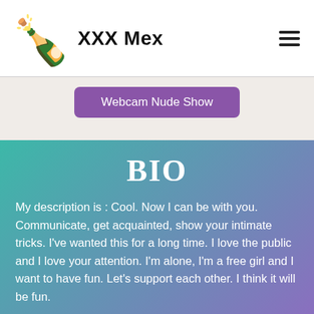XXX Mex
Webcam Nude Show
BIO
My description is : Cool. Now I can be with you. Communicate, get acquainted, show your intimate tricks. I've wanted this for a long time. I love the public and I love your attention. I'm alone, I'm a free girl and I want to have fun. Let's support each other. I think it will be fun.